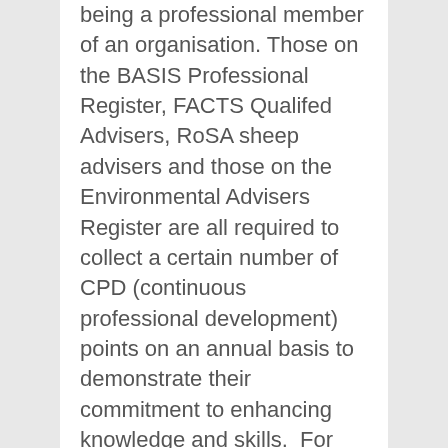being a professional member of an organisation. Those on the BASIS Professional Register, FACTS Qualifed Advisers, RoSA sheep advisers and those on the Environmental Advisers Register are all required to collect a certain number of CPD (continuous professional development) points on an annual basis to demonstrate their commitment to enhancing knowledge and skills.  For more information, please visit: https://basis-reg.co.uk/schemes.
We use cookies on this site to enhance your user experience
By clicking the Accept button, you agree to us doing so.
More info
Accept
Reject